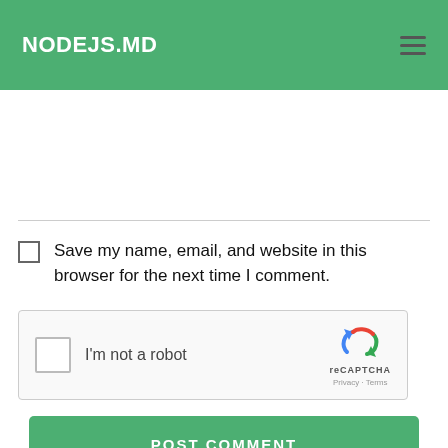NODEJS.MD
Save my name, email, and website in this browser for the next time I comment.
[Figure (other): reCAPTCHA widget with checkbox labeled 'I'm not a robot', reCAPTCHA logo, and Privacy/Terms links]
POST COMMENT